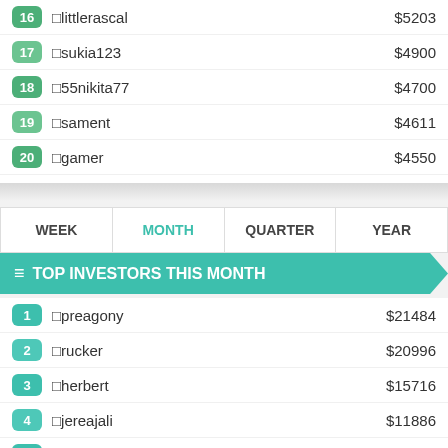16 littlerascal $5203
17 sukia123 $4900
18 55nikita77 $4700
19 sament $4611
20 gamer $4550
| WEEK | MONTH | QUARTER | YEAR |
| --- | --- | --- | --- |
TOP INVESTORS THIS MONTH
1 preagony $21484
2 rucker $20996
3 herbert $15716
4 jereajali $11886
5 paadzie $10174
6 porsche $9497
7 ssava $9190
8 komissar $8561